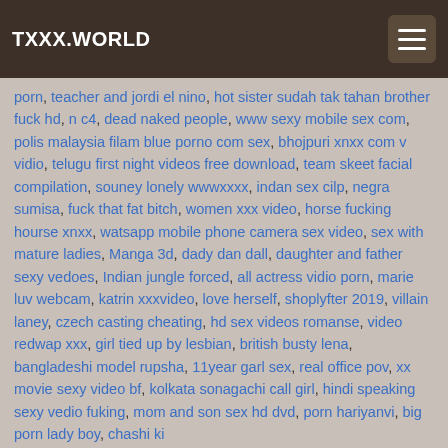TXXX.WORLD
porn, teacher and jordi el nino, hot sister sudah tak tahan brother fuck hd, n c4, dead naked people, www sexy mobile sex com, polis malaysia filam blue porno com sex, bhojpuri xnxx com v vidio, telugu first night videos free download, team skeet facial compilation, souney lonely wwwxxxx, indan sex cilp, negra sumisa, fuck that fat bitch, women xxx video, horse fucking hourse xnxx, watsapp mobile phone camera sex video, sex with mature ladies, Manga 3d, dady dan dall, daughter and father sexy vedoes, Indian jungle forced, all actress vidio porn, marie luv webcam, katrin xxxvideo, love herself, shoplyfter 2019, villain laney, czech casting cheating, hd sex videos romanse, video redwap xxx, girl tied up by lesbian, british busty lena, bangladeshi model rupsha, 11year garl sex, real office pov, xx movie sexy video bf, kolkata sonagachi call girl, hindi speaking sexy vedio fuking, mom and son sex hd dvd, porn hariyanvi, big porn lady boy, chashi ki